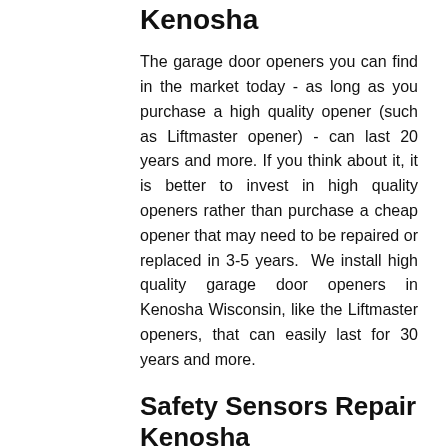Kenosha
The garage door openers you can find in the market today - as long as you purchase a high quality opener (such as Liftmaster opener) - can last 20 years and more. If you think about it, it is better to invest in high quality openers rather than purchase a cheap opener that may need to be repaired or replaced in 3-5 years.  We install high quality garage door openers in Kenosha Wisconsin, like the Liftmaster openers, that can easily last for 30 years and more.
Safety Sensors Repair Kenosha
One of the problems that prevent a garage door from working